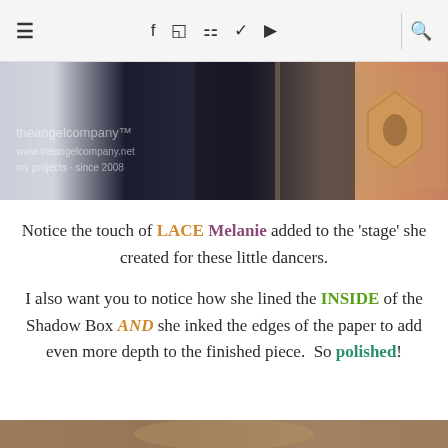≡   f  🎥  p  🐦  ▶  🔍
[Figure (photo): Banner image showing crafting supplies including dark boxes/books and a decorative card with diamond pattern, with 'theangelcompany' watermark text]
Notice the touch of LACE Melanie added to the 'stage' she created for these little dancers.
I also want you to notice how she lined the INSIDE of the Shadow Box AND she inked the edges of the paper to add even more depth to the finished piece.  So polished!
[Figure (photo): Partial view of another craft project at the bottom of the page]